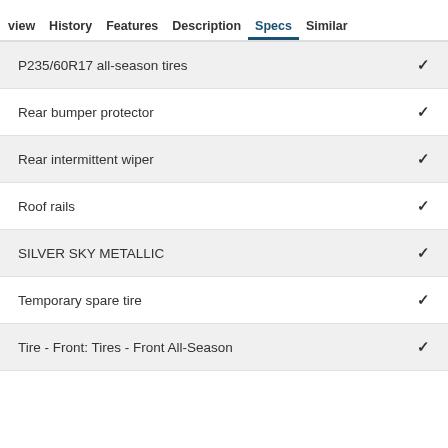view   History   Features   Description   Specs   Similar
P235/60R17 all-season tires
Rear bumper protector
Rear intermittent wiper
Roof rails
SILVER SKY METALLIC
Temporary spare tire
Tire - Front: Tires - Front All-Season